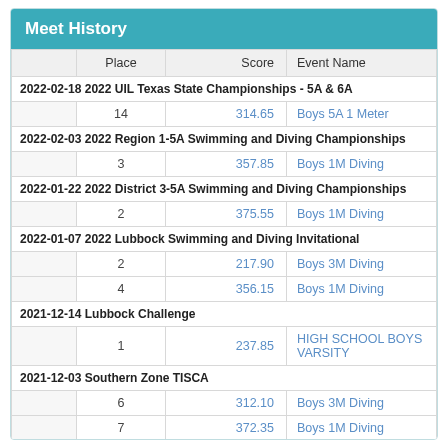Meet History
|  | Place | Score | Event Name |
| --- | --- | --- | --- |
| 2022-02-18 2022 UIL Texas State Championships - 5A & 6A |  |  |  |
|  | 14 | 314.65 | Boys 5A 1 Meter |
| 2022-02-03 2022 Region 1-5A Swimming and Diving Championships |  |  |  |
|  | 3 | 357.85 | Boys 1M Diving |
| 2022-01-22 2022 District 3-5A Swimming and Diving Championships |  |  |  |
|  | 2 | 375.55 | Boys 1M Diving |
| 2022-01-07 2022 Lubbock Swimming and Diving Invitational |  |  |  |
|  | 2 | 217.90 | Boys 3M Diving |
|  | 4 | 356.15 | Boys 1M Diving |
| 2021-12-14 Lubbock Challenge |  |  |  |
|  | 1 | 237.85 | HIGH SCHOOL BOYS VARSITY |
| 2021-12-03 Southern Zone TISCA |  |  |  |
|  | 6 | 312.10 | Boys 3M Diving |
|  | 7 | 372.35 | Boys 1M Diving |
| 2021-11-05 2021 Lubbock Independent School District Fall Invitational |  |  |  |
|  | 3 | 348.95 | Boys 1M Diving |
| 2021-09-25 TimeTrial |  |  |  |